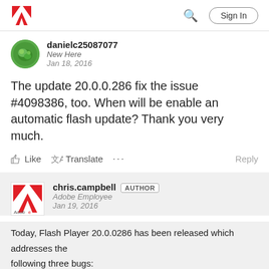Adobe | Sign In
danielc25087077
New Here
Jan 18, 2016
The update 20.0.0.286 fix the issue #4098386, too. When will be enable an automatic flash update? Thank you very much.
Like   Translate   ...   Reply
chris.campbell  AUTHOR
Adobe Employee
Jan 19, 2016
Today, Flash Player 20.0.0286 has been released which addresses the following three bugs: